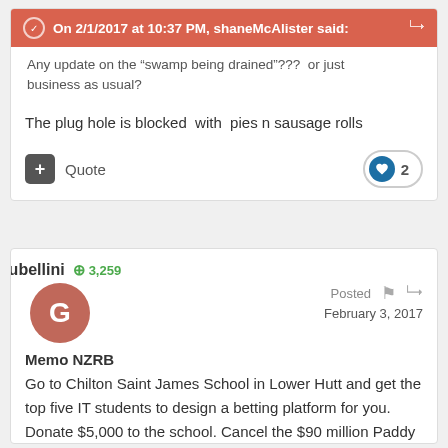On 2/1/2017 at 10:37 PM, shaneMcAlister said:
Any update on the "swamp being drained"???  or just business as usual?
The plug hole is blocked  with  pies n sausage rolls
Quote
2
gubellini   + 3,259
Posted  February 3, 2017
Memo NZRB
Go to Chilton Saint James School in Lower Hutt and get the top five IT students to design a betting platform for you. Donate $5,000 to the school. Cancel the $90 million Paddy Power deal and plough that money into stakes over the next three years and get racing